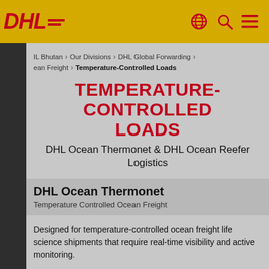DHL — Temperature-Controlled Loads
IL Bhutan > Our Divisions > DHL Global Forwarding > ean Freight > Temperature-Controlled Loads
TEMPERATURE-CONTROLLED LOADS
DHL Ocean Thermonet & DHL Ocean Reefer Logistics
DHL Ocean Thermonet
Temperature Controlled Ocean Freight
Designed for temperature-controlled ocean freight life science shipments that require real-time visibility and active monitoring.